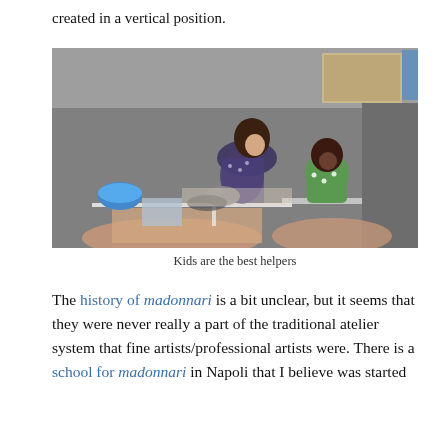created in a vertical position.
[Figure (photo): A woman kneeling on a street pavement working on a large chalk street painting (madonnari art), with a young child in a green polka-dot outfit sitting beside her helping. A blue bowl and papers are visible nearby. The chalk artwork in the foreground depicts a human figure.]
Kids are the best helpers
The history of madonnari is a bit unclear, but it seems that they were never really a part of the traditional atelier system that fine artists/professional artists were. There is a school for madonnari in Napoli that I believe was started